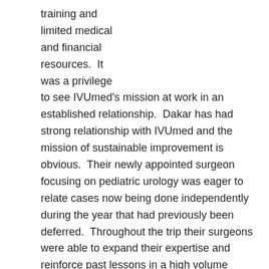training and limited medical and financial resources.  It was a privilege to see IVUmed's mission at work in an established relationship.  Dakar has had strong relationship with IVUmed and the mission of sustainable improvement is obvious.  Their newly appointed surgeon focusing on pediatric urology was eager to relate cases now being done independently during the year that had previously been deferred.  Throughout the trip their surgeons were able to expand their expertise and reinforce past lessons in a high volume surgical week.
“We witnessed the ramifications of potentially preventable complications and advanced